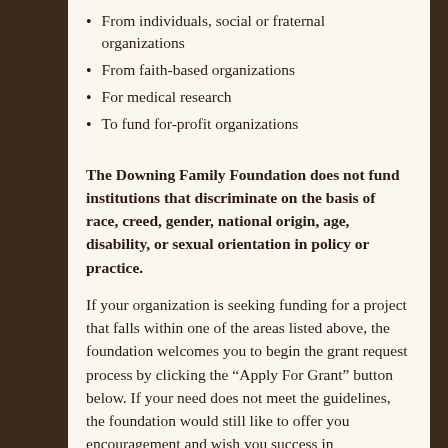From individuals, social or fraternal organizations
From faith-based organizations
For medical research
To fund for-profit organizations
The Downing Family Foundation does not fund institutions that discriminate on the basis of race, creed, gender, national origin, age, disability, or sexual orientation in policy or practice.
If your organization is seeking funding for a project that falls within one of the areas listed above, the foundation welcomes you to begin the grant request process by clicking the “Apply For Grant” button below. If your need does not meet the guidelines, the foundation would still like to offer you encouragement and wish you success in